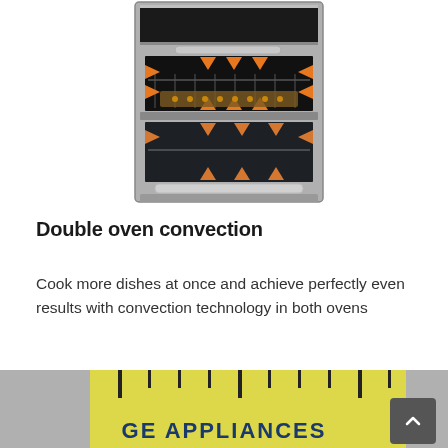[Figure (photo): Double oven with open door showing convection airflow arrows in orange, two oven cavities visible with a tray of food inside, stainless steel appliance]
Double oven convection
Cook more dishes at once and achieve perfectly even results with convection technology in both ovens
[Figure (photo): Bottom portion of a yellow ruler/tape measure graphic with GE APPLIANCES text, partially visible at the bottom of the page]